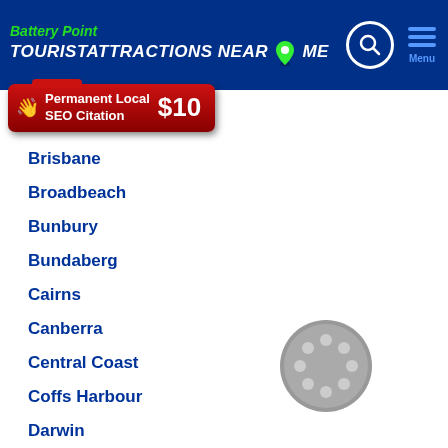Battery Point TOURISTATTRACTIONS NEAR ME
[Figure (screenshot): Red advertisement banner: Permanent Local SEO Citation $10]
Brisbane
Broadbeach
Bunbury
Bundaberg
Cairns
Canberra
Central Coast
Coffs Harbour
Darwin
Geelong
Gold Coast
Hervey Bay
[Figure (illustration): Grey circular spinner/loading icon]